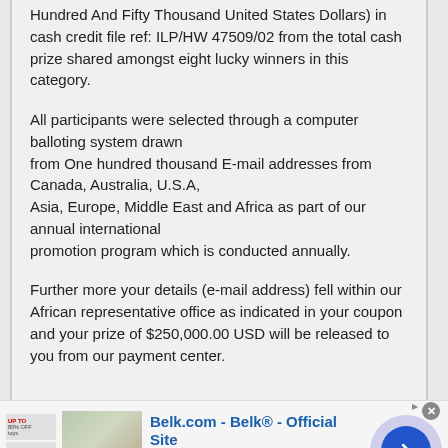Hundred And Fifty Thousand United States Dollars) in cash credit file ref: ILP/HW 47509/02 from the total cash prize shared amongst eight lucky winners in this category.
All participants were selected through a computer balloting system drawn from One hundred thousand E-mail addresses from Canada, Australia, U.S.A, Asia, Europe, Middle East and Africa as part of our annual international promotion program which is conducted annually.
Further more your details (e-mail address) fell within our African representative office as indicated in your coupon and your prize of $250,000.00 USD will be released to you from our payment center.
[Figure (infographic): Advertisement banner for Belk.com - Belk Official Site. Shows small promotional boxes on left, a product image in center-left, ad text with title 'Belk.com - Belk® - Official Site', subtitle 'Shop for clothing, handbags, jewelry, beauty, home & more!', URL 'www.belk.com', and a blue arrow button on right inside a light purple circle. Close button (x) in top-right corner.]